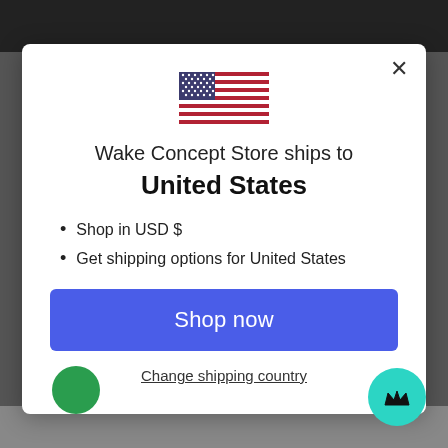[Figure (illustration): US flag emoji / icon]
Wake Concept Store ships to
United States
Shop in USD $
Get shipping options for United States
Shop now
Change shipping country